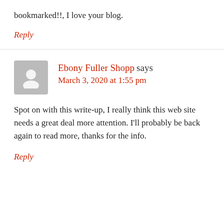bookmarked!!, I love your blog.
Reply
Ebony Fuller Shopp says
March 3, 2020 at 1:55 pm
Spot on with this write-up, I really think this web site needs a great deal more attention. I'll probably be back again to read more, thanks for the info.
Reply